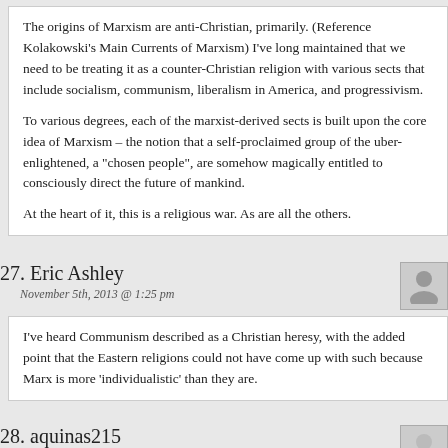The origins of Marxism are anti-Christian, primarily. (Reference Kolakowski’s Main Currents of Marxism) I’ve long maintained that we need to be treating it as a counter-Christian religion with various sects that include socialism, communism, liberalism in America, and progressivism.

To various degrees, each of the marxist-derived sects is built upon the core idea of Marxism – the notion that a self-proclaimed group of the uber-enlightened, a “chosen people”, are somehow magically entitled to consciously direct the future of mankind.

At the heart of it, this is a religious war. As are all the others.
27. Eric Ashley
November 5th, 2013 @ 1:25 pm
I’ve heard Communism described as a Christian heresy, with the added point that the Eastern religions could not have come up with such because Marx is more ‘individualistic’ than they are.
28. aquinas215
November 5th, 2013 @ 1:45 pm